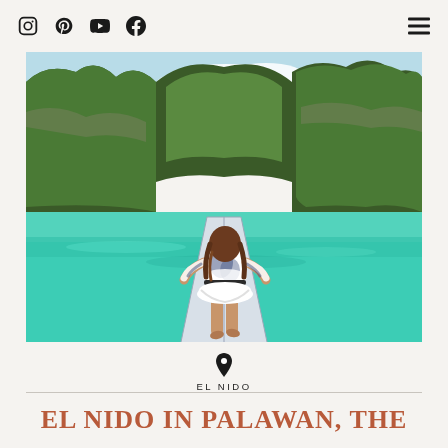Social media icons: Instagram, Pinterest, YouTube, Facebook | Hamburger menu
[Figure (photo): A woman in a white and blue tie-dye cover-up stands on the bow of a boat on turquoise-green water surrounded by dramatic limestone cliffs covered in tropical vegetation in El Nido, Palawan, Philippines]
EL NIDO
EL NIDO IN PALAWAN, THE